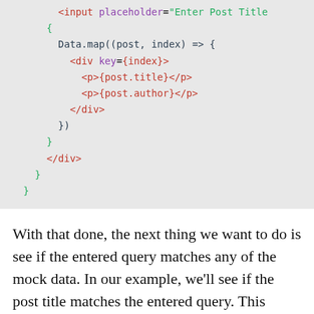[Figure (screenshot): Code snippet showing JSX with Data.map rendering post title and author, and closing div/brace structure]
With that done, the next thing we want to do is see if the entered query matches any of the mock data. In our example, we'll see if the post title matches the entered query. This